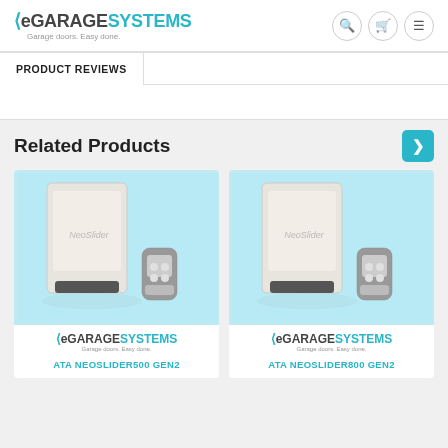eGARAGESYSTEMS — Garage doors. Easy done.
PRODUCT REVIEWS
Related Products
[Figure (photo): ATA NeoSlider500 Gen2 garage door motor with remote controls on light blue background, eGARAGESYSTEMS logo below]
ATA NEOSLIDER500 GEN2
[Figure (photo): ATA NeoSlider800 Gen2 garage door motor with remote controls on light blue background, eGARAGESYSTEMS logo below]
ATA NEOSLIDER800 GEN2